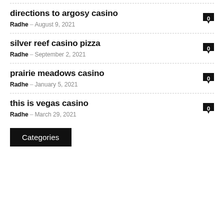directions to argosy casino
Radhe – August 9, 2021
silver reef casino pizza
Radhe – September 2, 2021
prairie meadows casino
Radhe – January 5, 2021
this is vegas casino
Radhe – March 29, 2021
Categories